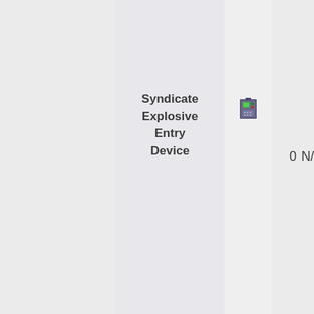|  | Name | Icon | Count | N/A |
| --- | --- | --- | --- | --- |
|  | Syndicate Explosive Entry Device | [icon] | 0 | N/A |